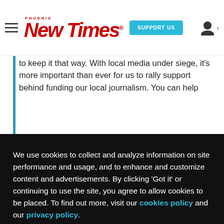Phoenix New Times | SUPPORT US
to keep it that way. With local media under siege, it's more important than ever for us to rally support behind funding our local journalism. You can help
as $1.
We use cookies to collect and analyze information on site performance and usage, and to enhance and customize content and advertisements. By clicking 'Got it' or continuing to use the site, you agree to allow cookies to be placed. To find out more, visit our cookies policy and our privacy policy.
Got it!